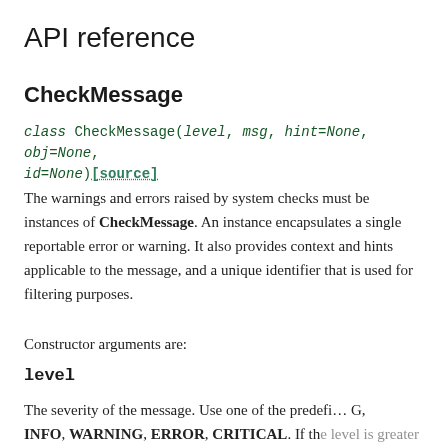API reference
CheckMessage
class CheckMessage(level, msg, hint=None, obj=None, id=None)[source]
The warnings and errors raised by system checks must be instances of CheckMessage. An instance encapsulates a single reportable error or warning. It also provides context and hints applicable to the message, and a unique identifier that is used for filtering purposes.
Constructor arguments are:
level
The severity of the message. Use one of the predefined values: DEBUG, INFO, WARNING, ERROR, CRITICAL. If the level is greater or equal to ERROR, then Django will prevent management commands from executing. Messages with level lower than ERROR (i.e. warnings) are